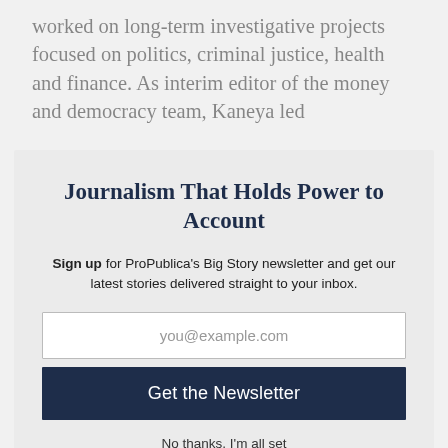worked on long-term investigative projects focused on politics, criminal justice, health and finance. As interim editor of the money and democracy team, Kaneya led
Journalism That Holds Power to Account
Sign up for ProPublica's Big Story newsletter and get our latest stories delivered straight to your inbox.
you@example.com
Get the Newsletter
No thanks, I'm all set
This site is protected by reCAPTCHA and the Google Privacy Policy and Terms of Service apply.